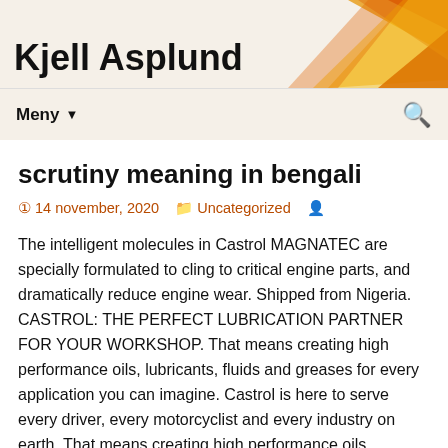Kjell Asplund
scrutiny meaning in bengali
14 november, 2020   Uncategorized
The intelligent molecules in Castrol MAGNATEC are specially formulated to cling to critical engine parts, and dramatically reduce engine wear. Shipped from Nigeria. CASTROL: THE PERFECT LUBRICATION PARTNER FOR YOUR WORKSHOP. That means creating high performance oils, lubricants, fluids and greases for every application you can imagine. Castrol is here to serve every driver, every motorcyclist and every industry on earth. That means creating high performance oils, lubricants, fluids and greases for every application you can imagine. To calculate